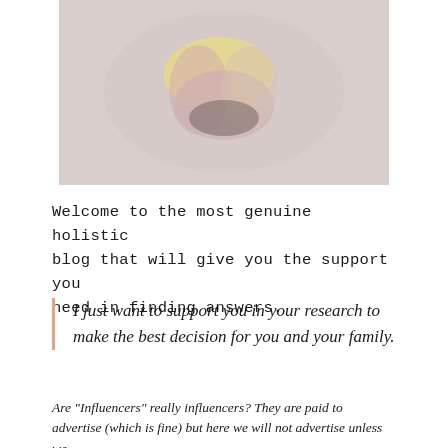[Figure (photo): Blurred close-up photo of hands holding what appears to be a small yellow bowl or cup, with a light pinkish-grey background]
Welcome to the most genuine holistic blog that will give you the support you need in finding answers.
I just want to support you in your research to make the best decision for you and your family.
Are "Influencers" really influencers? They are paid to advertise (which is fine) but here we will not advertise unless we